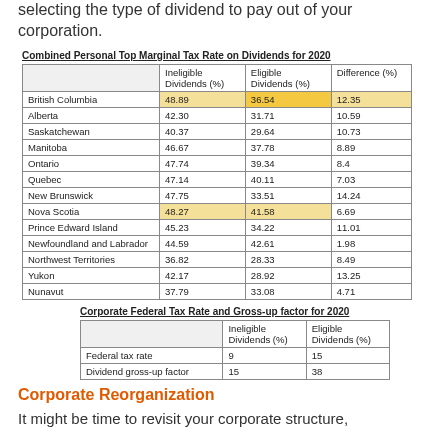selecting the type of dividend to pay out of your corporation.
Combined Personal Top Marginal Tax Rate on Dividends for 2020
|  | Ineligible Dividends (%) | Eligible Dividends (%) | Difference (%) |
| --- | --- | --- | --- |
| British Columbia | 48.89 | 36.54 | 12.35 |
| Alberta | 42.30 | 31.71 | 10.59 |
| Saskatchewan | 40.37 | 29.64 | 10.73 |
| Manitoba | 46.67 | 37.78 | 8.89 |
| Ontario | 47.74 | 39.34 | 8.4 |
| Quebec | 47.14 | 40.11 | 7.03 |
| New Brunswick | 47.75 | 33.51 | 14.24 |
| Nova Scotia | 48.27 | 41.58 | 6.69 |
| Prince Edward Island | 45.23 | 34.22 | 11.01 |
| Newfoundland and Labrador | 44.59 | 42.61 | 1.98 |
| Northwest Territories | 36.82 | 28.33 | 8.49 |
| Yukon | 42.17 | 28.92 | 13.25 |
| Nunavut | 37.79 | 33.08 | 4.71 |
Corporate Federal Tax Rate and Gross-up factor for 2020
|  | Ineligible Dividends (%) | Eligible Dividends (%) |
| --- | --- | --- |
| Federal tax rate | 9 | 15 |
| Dividend gross-up factor | 15 | 38 |
Corporate Reorganization
It might be time to revisit your corporate structure,